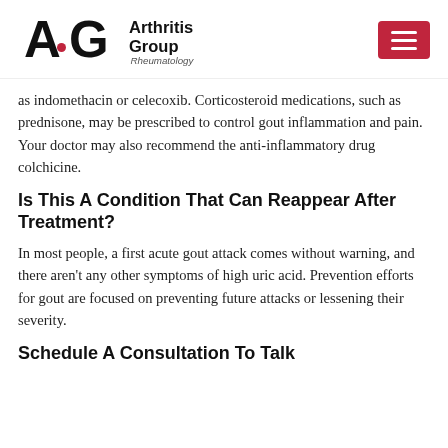Arthritis Group Rheumatology
as indomethacin or celecoxib. Corticosteroid medications, such as prednisone, may be prescribed to control gout inflammation and pain. Your doctor may also recommend the anti-inflammatory drug colchicine.
Is This A Condition That Can Reappear After Treatment?
In most people, a first acute gout attack comes without warning, and there aren't any other symptoms of high uric acid. Prevention efforts for gout are focused on preventing future attacks or lessening their severity.
Schedule A Consultation To Talk